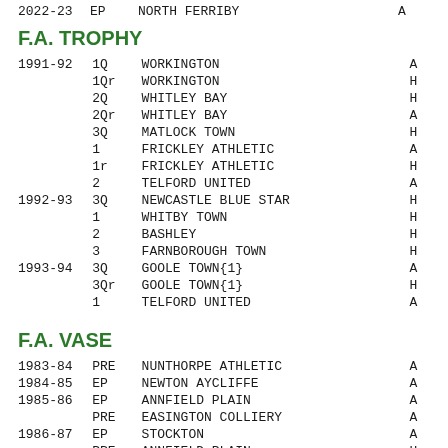2022-23  EP   NORTH FERRIBY   A
F.A. TROPHY
| Year | Round | Team | H/A |
| --- | --- | --- | --- |
| 1991-92 | 1Q | WORKINGTON | A |
|  | 1Qr | WORKINGTON | H |
|  | 2Q | WHITLEY BAY | H |
|  | 2Qr | WHITLEY BAY | A |
|  | 3Q | MATLOCK TOWN | H |
|  | 1 | FRICKLEY ATHLETIC | A |
|  | 1r | FRICKLEY ATHLETIC | H |
|  | 2 | TELFORD UNITED | A |
| 1992-93 | 3Q | NEWCASTLE BLUE STAR | H |
|  | 1 | WHITBY TOWN | H |
|  | 2 | BASHLEY | H |
|  | 3 | FARNBOROUGH TOWN | H |
| 1993-94 | 3Q | GOOLE TOWN{1} | A |
|  | 3Qr | GOOLE TOWN{1} | H |
|  | 1 | TELFORD UNITED | A |
F.A. VASE
| Year | Round | Team | H/A |
| --- | --- | --- | --- |
| 1983-84 | PRE | NUNTHORPE ATHLETIC | A |
| 1984-85 | EP | NEWTON AYCLIFFE | A |
| 1985-86 | EP | ANNFIELD PLAIN | A |
|  | PRE | EASINGTON COLLIERY | A |
| 1986-87 | EP | STOCKTON | A |
|  | PRE | ANNFIELD PLAIN | H |